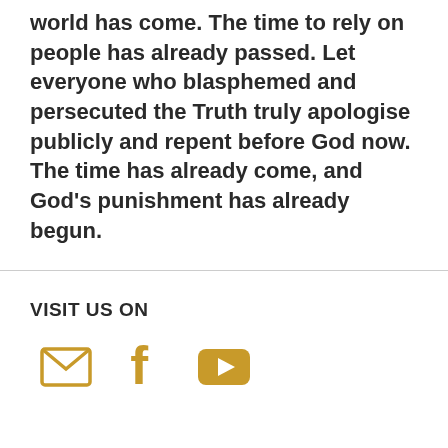world has come. The time to rely on people has already passed. Let everyone who blasphemed and persecuted the Truth truly apologise publicly and repent before God now. The time has already come, and God's punishment has already begun.
VISIT US ON
[Figure (infographic): Three social media icons in gold/amber color: email envelope, Facebook 'f' logo, and YouTube play button rectangle]